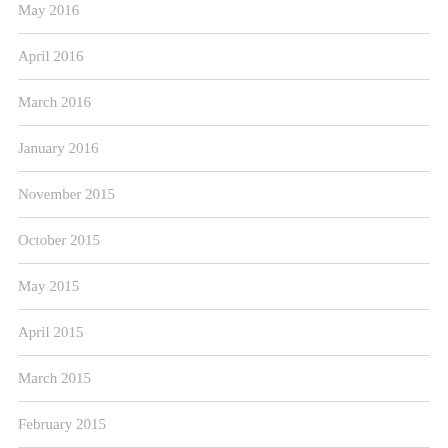May 2016
April 2016
March 2016
January 2016
November 2015
October 2015
May 2015
April 2015
March 2015
February 2015
July 2014